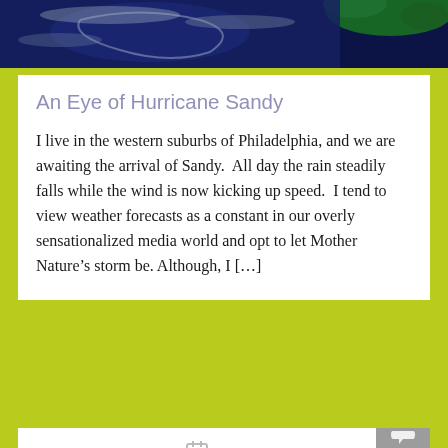[Figure (photo): Satellite image of a hurricane from space, showing blue ocean and green landmass at the top of the page]
An Eye of Hurricane Sandy
I live in the western suburbs of Philadelphia, and we are awaiting the arrival of Sandy.  All day the rain steadily falls while the wind is now kicking up speed.  I tend to view weather forecasts as a constant in our overly sensationalized media world and opt to let Mother Nature’s storm be.  Although, I […]
September 24, 2012   Peg Calvario   0 comment
[Figure (photo): Portrait photo of a person's face, close-up, partially visible at the bottom of the page]